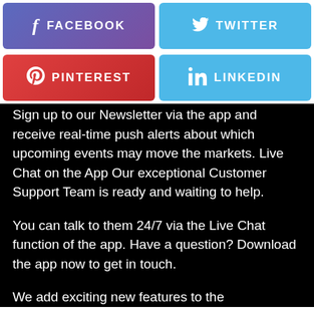[Figure (infographic): Social media buttons: Facebook (purple gradient), Twitter (blue), Pinterest (red gradient), LinkedIn (blue)]
Sign up to our Newsletter via the app and receive real-time push alerts about which upcoming events may move the markets. Live Chat on the App Our exceptional Customer Support Team is ready and waiting to help.
You can talk to them 24/7 via the Live Chat function of the app. Have a question? Download the app now to get in touch.
We add exciting new features to the app to make trading as easy as possible.